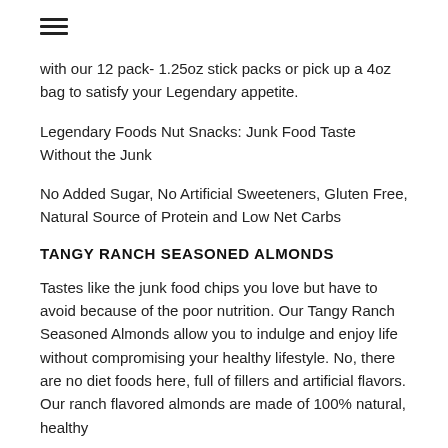≡
with our 12 pack- 1.25oz stick packs or pick up a 4oz bag to satisfy your Legendary appetite.
Legendary Foods Nut Snacks: Junk Food Taste Without the Junk
No Added Sugar, No Artificial Sweeteners, Gluten Free, Natural Source of Protein and Low Net Carbs
TANGY RANCH SEASONED ALMONDS
Tastes like the junk food chips you love but have to avoid because of the poor nutrition. Our Tangy Ranch Seasoned Almonds allow you to indulge and enjoy life without compromising your healthy lifestyle. No, there are no diet foods here, full of fillers and artificial flavors. Our ranch flavored almonds are made of 100% natural, healthy